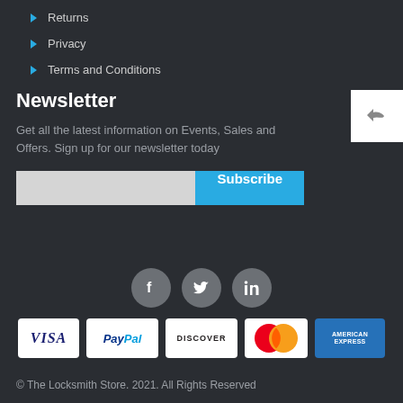Returns
Privacy
Terms and Conditions
Newsletter
Get all the latest information on Events, Sales and Offers. Sign up for our newsletter today
[Figure (screenshot): Newsletter subscribe form with input field and Subscribe button]
[Figure (infographic): Social media icons: Facebook, Twitter, LinkedIn, and payment method logos: VISA, PayPal, Discover, Mastercard, American Express]
© The Locksmith Store. 2021. All Rights Reserved